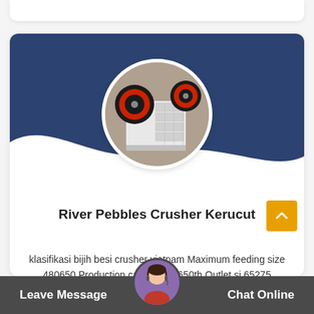[Figure (photo): Circular cropped photo of a jaw crusher machine — white and red mechanical equipment]
River Pebbles Crusher Kerucut
klasifikasi bijih besi crusher vietnam Maximum feeding size 480650 Production capacity 85650th Outlet si 65275 Applicable m all kinds of pebbles...
Leave Message  Chat Online